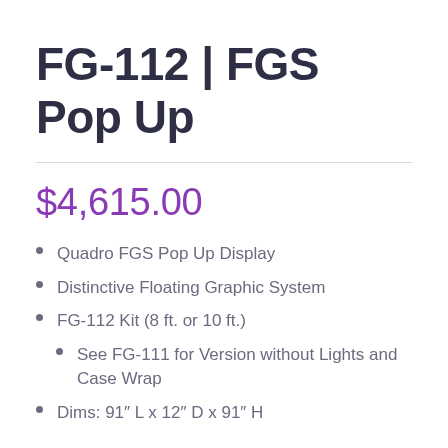FG-112 | FGS Pop Up
$4,615.00
Quadro FGS Pop Up Display
Distinctive Floating Graphic System
FG-112 Kit (8 ft. or 10 ft.)
See FG-111 for Version without Lights and Case Wrap
Dims: 91″ L x 12″ D x 91″ H